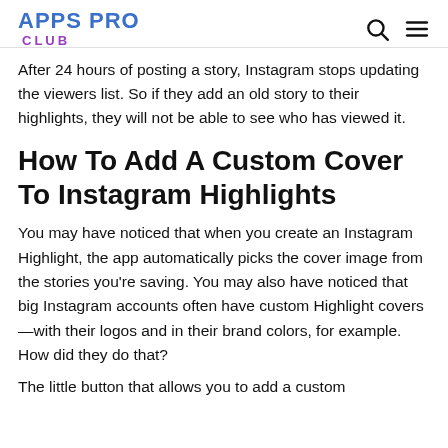APPS PRO CLUB
After 24 hours of posting a story, Instagram stops updating the viewers list. So if they add an old story to their highlights, they will not be able to see who has viewed it.
How To Add A Custom Cover To Instagram Highlights
You may have noticed that when you create an Instagram Highlight, the app automatically picks the cover image from the stories you're saving. You may also have noticed that big Instagram accounts often have custom Highlight covers—with their logos and in their brand colors, for example. How did they do that?
The little button that allows you to add a custom